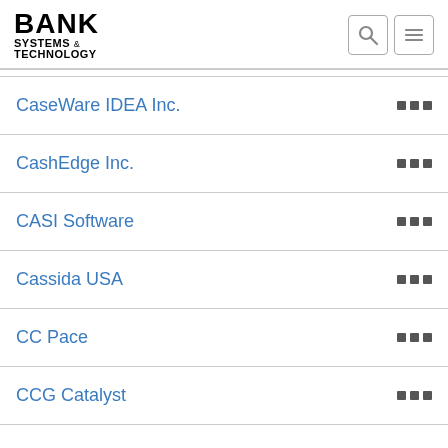BANK SYSTEMS & TECHNOLOGY
CaseWare IDEA Inc.
CashEdge Inc.
CASI Software
Cassida USA
CC Pace
CCG Catalyst